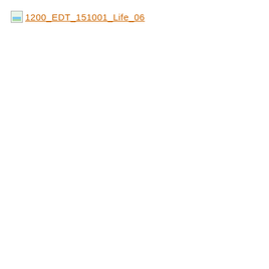[Figure (other): Broken image icon placeholder followed by a hyperlink text '1200_EDT_151001_Life_06' displayed in orange/brown color with underline, resembling a document link in a web-based document viewer.]